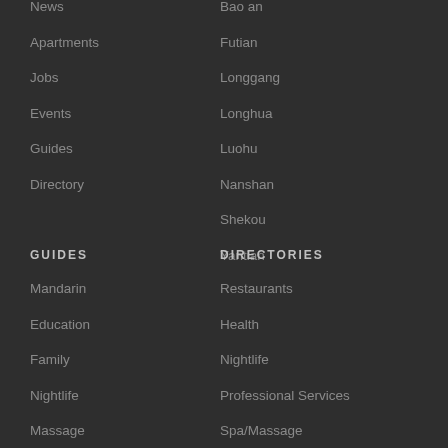News
Apartments
Jobs
Events
Guides
Directory
Bao an
Futian
Longgang
Longhua
Luohu
Nanshan
Shekou
Yantian
GUIDES
DIRECTORIES
Mandarin
Education
Family
Nightlife
Massage
Restaurants
Health
Nightlife
Professional Services
Spa/Massage